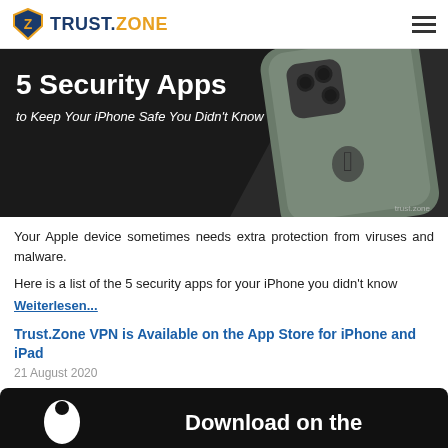TRUST.ZONE
[Figure (screenshot): Hero image with dark background showing an iPhone with triple camera, text overlay: '5 Security Apps to Keep Your iPhone Safe You Didn't Know', trust.zone watermark]
Your Apple device sometimes needs extra protection from viruses and malware.
Here is a list of the 5 security apps for your iPhone you didn't know
Weiterlesen...
Trust.Zone VPN is Available on the App Store for iPhone and iPad
21 August 2020
[Figure (screenshot): Black App Store banner with Apple logo and text 'Download on the']